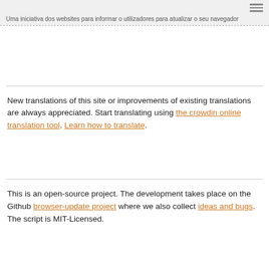Uma iniciativa dos websites para informar o utilizadores para atualizar o seu navegador
New translations of this site or improvements of existing translations are always appreciated. Start translating using the crowdin online translation tool. Learn how to translate.
This is an open-source project. The development takes place on the Github browser-update project where we also collect ideas and bugs. The script is MIT-Licensed.